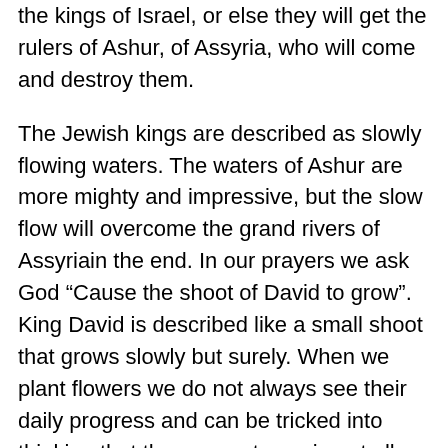the kings of Israel, or else they will get the rulers of Ashur, of Assyria, who will come and destroy them.
The Jewish kings are described as slowly flowing waters. The waters of Ashur are more mighty and impressive, but the slow flow will overcome the grand rivers of Assyriain the end. In our prayers we ask God “Cause the shoot of David to grow”. King David is described like a small shoot that grows slowly but surely. When we plant flowers we do not always see their daily progress and can be tricked into thinking that they are not growing at all. But one day the flowers bloom and we see that they were active the entire time, but grew slowly.
This is Ya'akov's answer to Esav. My strength is in time and my tenacity. I will beat you not by power